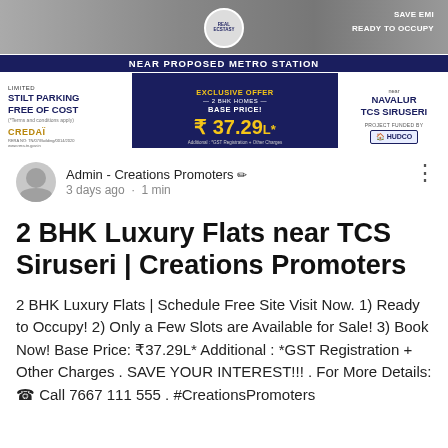[Figure (infographic): Real estate advertisement banner for Creations Ecstasy. Dark blue background with text: SAVE EMI, READY TO OCCUPY, NEAR PROPOSED METRO STATION. Left white panel: LIMITED, STILT PARKING FREE OF COST, CREDAI. Center dark panel: EXCLUSIVE OFFER, 2 BHK HOMES, BASE PRICE!, ₹37.29L*. Right white panel: near NAVALUR TCS SIRUSERI, PROJECT FUNDED BY HUDCO.]
Admin - Creations Promoters ✏ 3 days ago · 1 min
2 BHK Luxury Flats near TCS Siruseri | Creations Promoters
2 BHK Luxury Flats | Schedule Free Site Visit Now. 1) Ready to Occupy! 2) Only a Few Slots are Available for Sale! 3) Book Now! Base Price: ₹37.29L* Additional : *GST Registration + Other Charges . SAVE YOUR INTEREST!!! . For More Details: ☎ Call 7667 111 555 . #CreationsPromoters